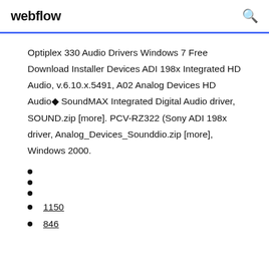webflow
Optiplex 330 Audio Drivers Windows 7 Free Download Installer Devices ADI 198x Integrated HD Audio, v.6.10.x.5491, A02 Analog Devices HD Audio◆ SoundMAX Integrated Digital Audio driver, SOUND.zip [more]. PCV-RZ322 (Sony ADI 198x driver, Analog_Devices_Sounddio.zip [more], Windows 2000.
1150
846